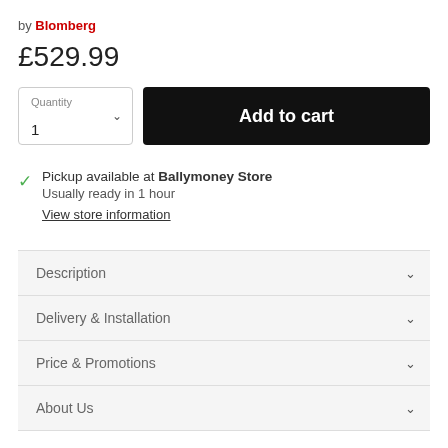by Blomberg
£529.99
Quantity 1 | Add to cart
Pickup available at Ballymoney Store
Usually ready in 1 hour
View store information
Description
Delivery & Installation
Price & Promotions
About Us